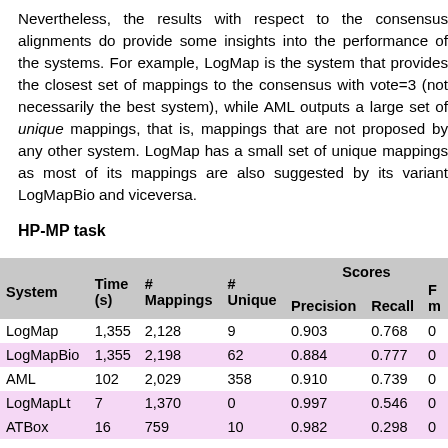Nevertheless, the results with respect to the consensus alignments do provide some insights into the performance of the systems. For example, LogMap is the system that provides the closest set of mappings to the consensus with vote=3 (not necessarily the best system), while AML outputs a large set of unique mappings, that is, mappings that are not proposed by any other system. LogMap has a small set of unique mappings as most of its mappings are also suggested by its variant LogMapBio and viceversa.
HP-MP task
| System | Time (s) | # Mappings | # Unique | Precision | Recall | F...m |
| --- | --- | --- | --- | --- | --- | --- |
| LogMap | 1,355 | 2,128 | 9 | 0.903 | 0.768 | 0 |
| LogMapBio | 1,355 | 2,198 | 62 | 0.884 | 0.777 | 0 |
| AML | 102 | 2,029 | 358 | 0.910 | 0.739 | 0 |
| LogMapLt | 7 | 1,370 | 0 | 0.997 | 0.546 | 0 |
| ATBox | 16 | 759 | 10 | 0.982 | 0.298 | 0 |